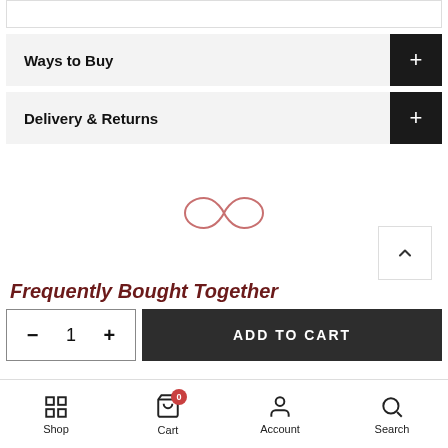Ways to Buy
Delivery & Returns
[Figure (logo): Decorative infinity/loop brand logo in light red/salmon color]
Frequently Bought Together
- 1 +   ADD TO CART
Shop  Cart  Account  Search